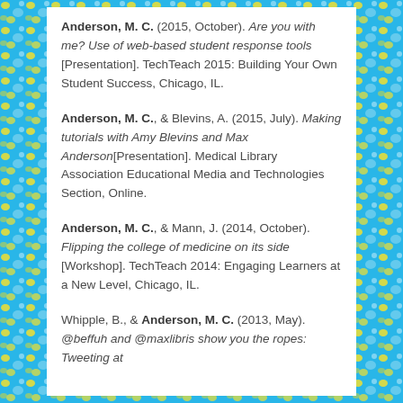Anderson, M. C. (2015, October). Are you with me? Use of web-based student response tools [Presentation]. TechTeach 2015: Building Your Own Student Success, Chicago, IL.
Anderson, M. C., & Blevins, A. (2015, July). Making tutorials with Amy Blevins and Max Anderson[Presentation]. Medical Library Association Educational Media and Technologies Section, Online.
Anderson, M. C., & Mann, J. (2014, October). Flipping the college of medicine on its side [Workshop]. TechTeach 2014: Engaging Learners at a New Level, Chicago, IL.
Whipple, B., & Anderson, M. C. (2013, May). @beffuh and @maxlibris show you the ropes: Tweeting at